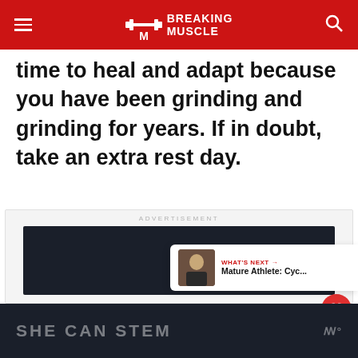Breaking Muscle
time to heal and adapt because you have been grinding and grinding for years. If in doubt, take an extra rest day.
[Figure (screenshot): Advertisement banner — dark textured background ad unit]
[Figure (other): What's Next promo card: Mature Athlete: Cyc...]
[Figure (other): Bottom advertisement bar with text SHE CAN STEM and logo]